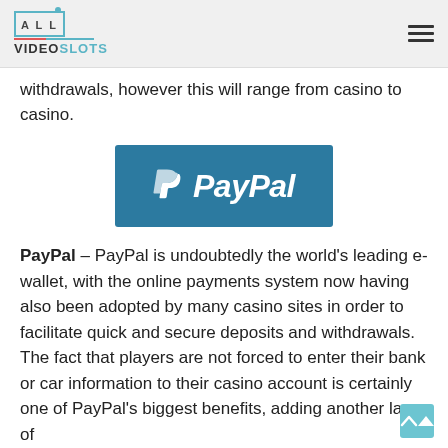ALL VIDEOSLOTS
withdrawals, however this will range from casino to casino.
[Figure (logo): PayPal logo on a teal/dark blue background rectangle. Shows the PayPal 'P' icon in white and the word 'PayPal' in white bold italic text.]
PayPal – PayPal is undoubtedly the world's leading e-wallet, with the online payments system now having also been adopted by many casino sites in order to facilitate quick and secure deposits and withdrawals. The fact that players are not forced to enter their bank or car information to their casino account is certainly one of PayPal's biggest benefits, adding another layer of